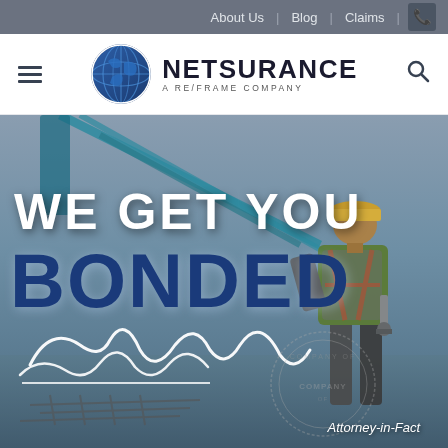About Us | Blog | Claims | Phone
[Figure (logo): Netsurance globe logo with text 'NETSURANCE A RE/FRAME COMPANY']
[Figure (photo): Construction worker in yellow hard hat and safety harness with crane in background. Text overlay reads 'WE GET YOU BONDED' with a signature and 'Attorney-in-Fact' label over a company seal.]
WE GET YOU BONDED
Attorney-in-Fact